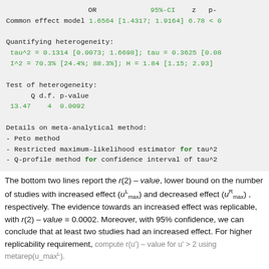OR   95%-CI   z   p-
Common effect model 1.6564 [1.4317; 1.9164] 6.78 < 0

Quantifying heterogeneity:
tau^2 = 0.1314 [0.0073; 1.6698]; tau = 0.3625 [0.08
I^2 = 70.3% [24.4%; 88.3%]; H = 1.84 [1.15; 2.93]

Test of heterogeneity:
     Q d.f. p-value
13.47   4  0.0092

Details on meta-analytical method:
- Peto method
- Restricted maximum-likelihood estimator for tau^2
- Q-profile method for confidence interval of tau^2
The bottom two lines report the r(2) – value, lower bound on the number of studies with increased effect (u^L_max) and decreased effect (u^R_max), respectively. The evidence towards an increased effect was replicable, with r(2) – value = 0.0002. Moreover, with 95% confidence, we can conclude that at least two studies had an increased effect. For higher replicability requirement, compute r(u') – value for u' > 2 using metarep(u_max^L).